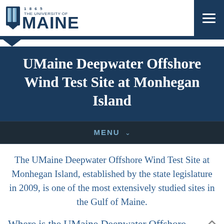THE UNIVERSITY OF MAINE
UMaine Deepwater Offshore Wind Test Site at Monhegan Island
MENU
The UMaine Deepwater Offshore Wind Test Site at Monhegan Island, established by the state legislature in 2009, is one of the most extensively studied sites in the Gulf of Maine.
Where is the UMaine Deepwater Offshore